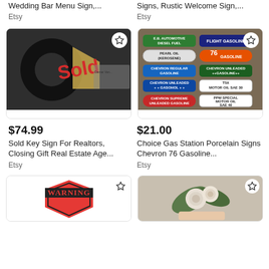Wedding Bar Menu Sign,...
Etsy
Signs, Rustic Welcome Sign,...
Etsy
[Figure (photo): Person holding a black key-shaped sold sign with red 'Sold' lettering and gold house shape, with a realtor business card visible in background]
[Figure (photo): Collection of colorful vintage porcelain gas station signs including Chevron, 76, Pearl Oil, Flight Gasoline, and motor oil signs on a wooden surface]
$74.99
Sold Key Sign For Realtors, Closing Gift Real Estate Age...
Etsy
$21.00
Choice Gas Station Porcelain Signs Chevron 76 Gasoline...
Etsy
[Figure (photo): Warning sign with red and black shield shape]
[Figure (photo): Floral arrangement with white roses and green leaves]